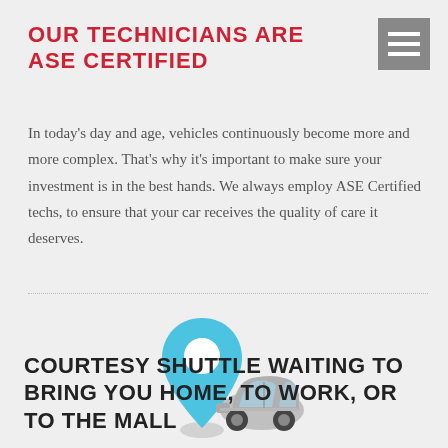OUR TECHNICIANS ARE ASE CERTIFIED
In today's day and age, vehicles continuously become more and more complex. That's why it's important to make sure your investment is in the best hands. We always employ ASE Certified techs, to ensure that your car receives the quality of care it deserves.
[Figure (illustration): A blue map location pin icon overlapping with a silver/gray miniature car, used to represent a courtesy shuttle or location service]
COURTESY SHUTTLE WAITING TO BRING YOU HOME, TO WORK, OR TO THE MALL